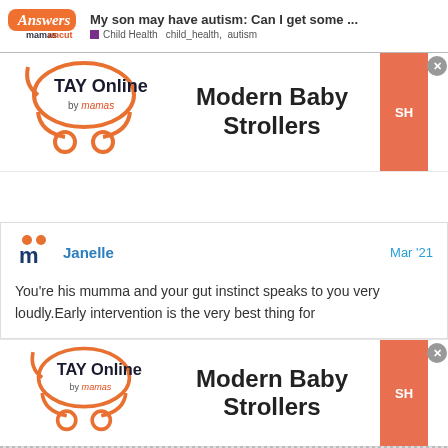My son may have autism: Can I get some ... | Child Health  child_health,  autism
[Figure (advertisement): TAY Online by mamas - Modern Baby Strollers ad banner with orange stroller logo and SH button]
[Figure (advertisement): Comment by Janelle, Mar 21 - You're his mumma and your gut instinct speaks to you very loudly.Early intervention is the very best thing for]
You're his mumma and your gut instinct speaks to you very loudly.Early intervention is the very best thing for
[Figure (advertisement): TAY Online by mamas - Modern Baby Strollers ad banner second instance]